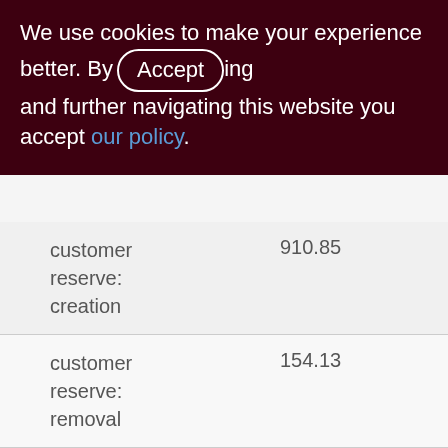We use cookies to make your experience better. By accepting and further navigating this website you accept our policy.
|  |  |
| --- | --- |
| customer reserve: creation | 910.85 |
| customer reserve: removal | 154.13 |
| realization accept: apply | 66.10 |
| realization accept: cancel | 19.43 |